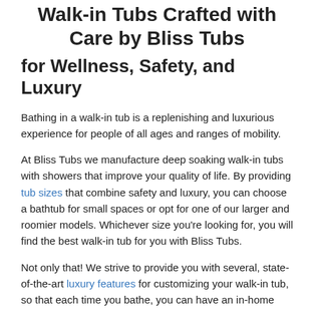Walk-in Tubs Crafted with Care by Bliss Tubs
for Wellness, Safety, and Luxury
Bathing in a walk-in tub is a replenishing and luxurious experience for people of all ages and ranges of mobility.
At Bliss Tubs we manufacture deep soaking walk-in tubs with showers that improve your quality of life. By providing tub sizes that combine safety and luxury, you can choose a bathtub for small spaces or opt for one of our larger and roomier models. Whichever size you're looking for, you will find the best walk-in tub for you with Bliss Tubs.
Not only that! We strive to provide you with several, state-of-the-art luxury features for customizing your walk-in tub, so that each time you bathe, you can have an in-home spa